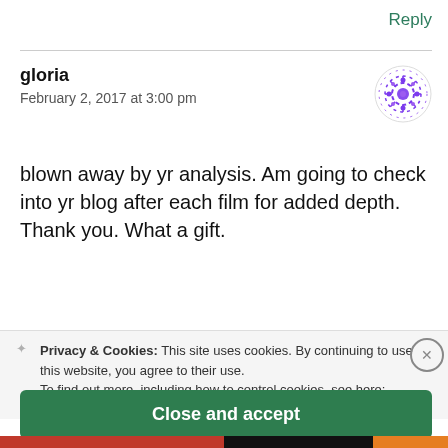Reply
gloria
February 2, 2017 at 3:00 pm
[Figure (illustration): Purple mandala/kaleidoscope avatar icon]
blown away by yr analysis. Am going to check into yr blog after each film for added depth. Thank you. What a gift.
Privacy & Cookies: This site uses cookies. By continuing to use this website, you agree to their use.
To find out more, including how to control cookies, see here:
Cookie Policy
Close and accept